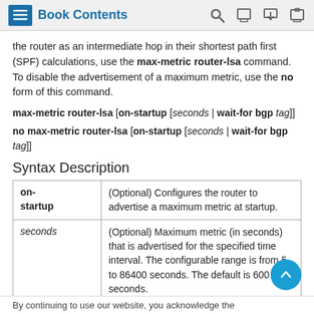Book Contents
the router as an intermediate hop in their shortest path first (SPF) calculations, use the max-metric router-lsa command. To disable the advertisement of a maximum metric, use the no form of this command.
Syntax Description
|  |  |
| --- | --- |
| on-startup | (Optional) Configures the router to advertise a maximum metric at startup. |
| seconds | (Optional) Maximum metric (in seconds) that is advertised for the specified time interval. The configurable range is from 5 to 86400 seconds. The default is 600 seconds. |
| tag | (Optional)... |
By continuing to use our website, you acknowledge the